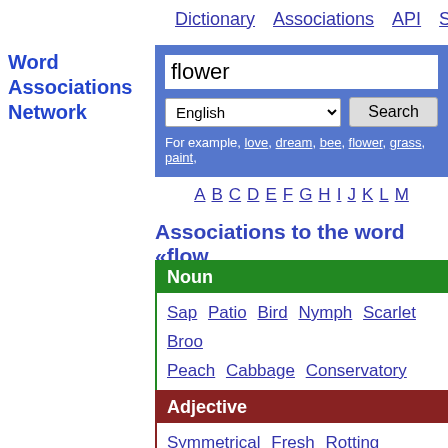Dictionary  Associations  API  Samples  Typ
Word Associations Network
flower
English  Search
For example, love, dream, bee, flower, grass, paint,
A B C D E F G H I J K L M
Associations to the word «flow
Noun
Sap  Patio  Bird  Nymph  Scarlet  Broo  Peach  Cabbage  Conservatory  Winter  Long  Quantity  Habit  Barbara  Root  T  Rose  Don  Bush
Adjective
Symmetrical  Fresh  Rotting  Brilliant  Creeping  Pleasant  Fair  Tall  Terminal